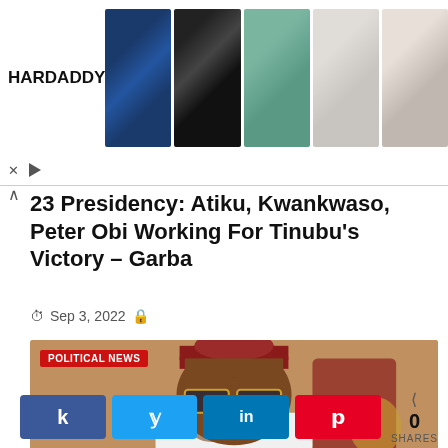[Figure (other): HARDADDY clothing advertisement banner showing 5 men's shirts/tops in a row with brand name on left]
23 Presidency: Atiku, Kwankwaso, Peter Obi Working For Tinubu's Victory – Garba
Sep 3, 2022
[Figure (photo): Close-up photo of a man wearing a red cap and dark square sunglasses with a gold frame, dressed in white, with a label badge reading POLITICAL NEWS]
0 SHARES